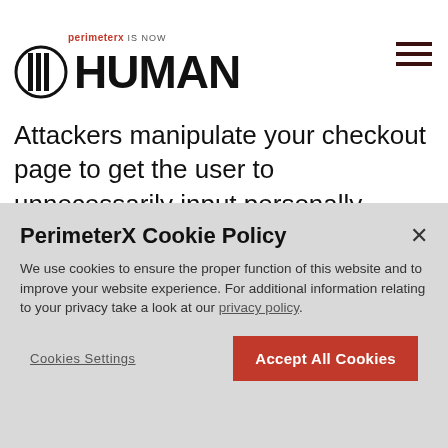perimeterx IS NOW HUMAN
Attackers manipulate your checkout page to get the user to unnecessarily input personally identifiable information that might include social security number, address and phone number. This data is forwarded to a secondary location by the attacker for use in future
PerimeterX Cookie Policy
We use cookies to ensure the proper function of this website and to improve your website experience. For additional information relating to your privacy take a look at our privacy policy.
Cookies Settings    Accept All Cookies